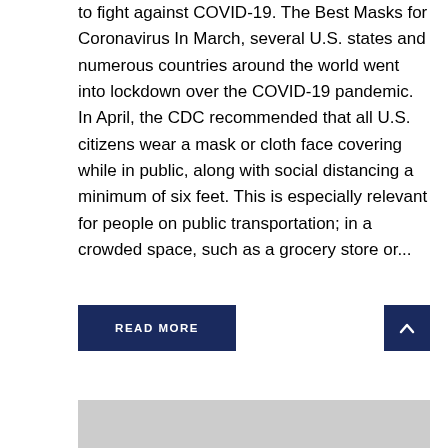to fight against COVID-19. The Best Masks for Coronavirus In March, several U.S. states and numerous countries around the world went into lockdown over the COVID-19 pandemic. In April, the CDC recommended that all U.S. citizens wear a mask or cloth face covering while in public, along with social distancing a minimum of six feet. This is especially relevant for people on public transportation; in a crowded space, such as a grocery store or...
READ MORE
[Figure (photo): Gray placeholder image at the bottom of the page]